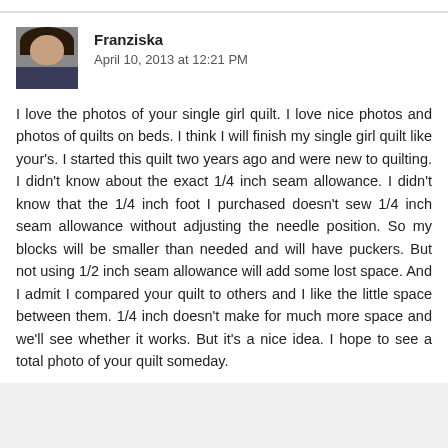[Figure (photo): Avatar/profile photo of Franziska — a woman with dark hair]
Franziska
April 10, 2013 at 12:21 PM
I love the photos of your single girl quilt. I love nice photos and photos of quilts on beds. I think I will finish my single girl quilt like your's. I started this quilt two years ago and were new to quilting. I didn't know about the exact 1/4 inch seam allowance. I didn't know that the 1/4 inch foot I purchased doesn't sew 1/4 inch seam allowance without adjusting the needle position. So my blocks will be smaller than needed and will have puckers. But not using 1/2 inch seam allowance will add some lost space. And I admit I compared your quilt to others and I like the little space between them. 1/4 inch doesn't make for much more space and we'll see whether it works. But it's a nice idea. I hope to see a total photo of your quilt someday.